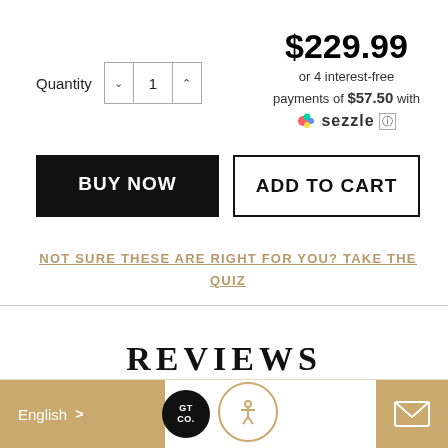$229.99
or 4 interest-free payments of $57.50 with Sezzle
Quantity 1
BUY NOW
ADD TO CART
NOT SURE THESE ARE RIGHT FOR YOU? TAKE THE QUIZ
REVIEWS
English
[Figure (other): Accessibility icon - person in circle]
[Figure (other): Mail envelope icon]